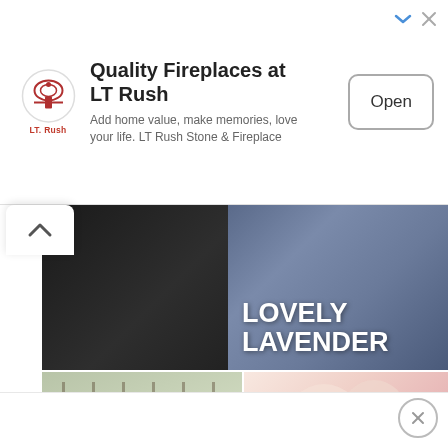[Figure (other): LT Rush advertisement banner with logo, tagline and Open button]
[Figure (photo): Wedding content grid showing LOVELY LAVENDER text over dark wedding photo, SWEET LOVE: 10 SWEETHEART TABLES WE LOVE over table setting photo, HOW TO AVOID DIY WEDDING FLOWERS DISASTER over flowers bouquet photo]